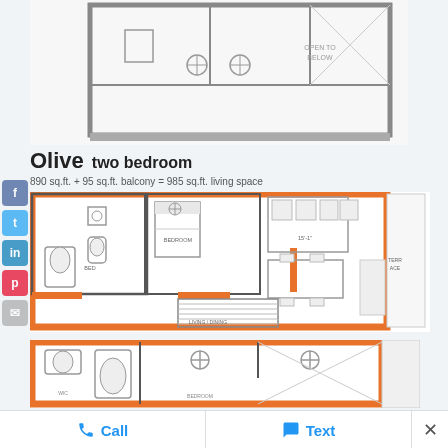[Figure (engineering-diagram): Top partial floor plan of a two-bedroom unit, showing rooms with furniture layout in black and white architectural style]
Olive two bedroom
890 sq.ft. + 95 sq.ft. balcony = 985 sq.ft. living space
[Figure (engineering-diagram): Main floor plan of two-bedroom unit with orange-outlined walls, showing bedroom, bathroom, kitchen, living area, dining area, and staircase]
[Figure (engineering-diagram): Lower floor plan section of the two-bedroom unit with orange-outlined walls, showing second bedroom, bathroom with tub, and additional spaces]
Call
Text